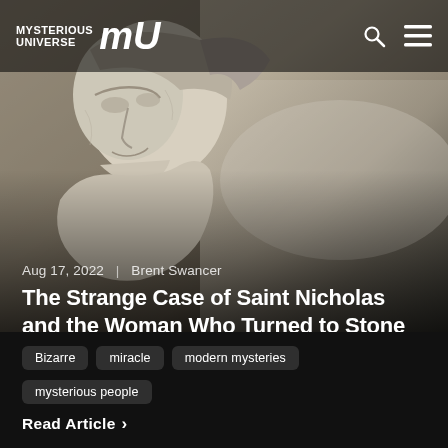MYSTERIOUS UNIVERSE MU
[Figure (photo): Close-up photograph of a white stone or marble statue of a woman, head bowed, with flowing hair, against a hazy sky background]
Aug 17, 2022  |  Brent Swancer
The Strange Case of Saint Nicholas and the Woman Who Turned to Stone
Bizarre
miracle
modern mysteries
mysterious people
Read Article ›